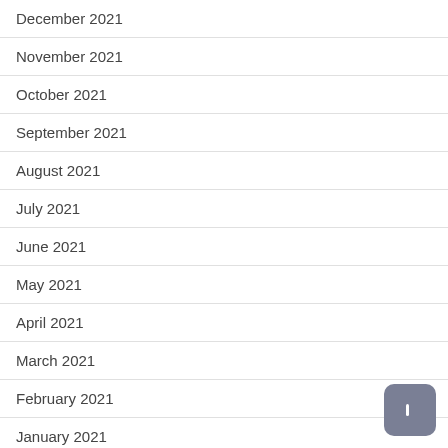December 2021
November 2021
October 2021
September 2021
August 2021
July 2021
June 2021
May 2021
April 2021
March 2021
February 2021
January 2021
December 2020
October 2020
September 2020